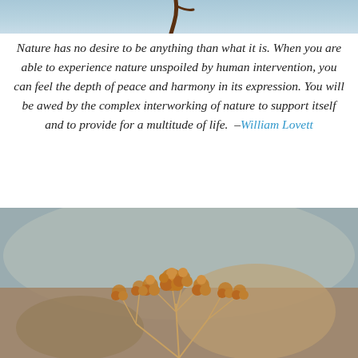[Figure (photo): Top portion of a nature photo showing a light blue sky with a dark branch or twig partially visible at the top center.]
Nature has no desire to be anything than what it is. When you are able to experience nature unspoiled by human intervention, you can feel the depth of peace and harmony in its expression. You will be awed by the complex interworking of nature to support itself and to provide for a multitude of life.  –William Lovett
[Figure (photo): Close-up macro photograph of dried golden-orange wildflowers (likely yarrow or similar) with a soft blurred gray and brown bokeh background.]